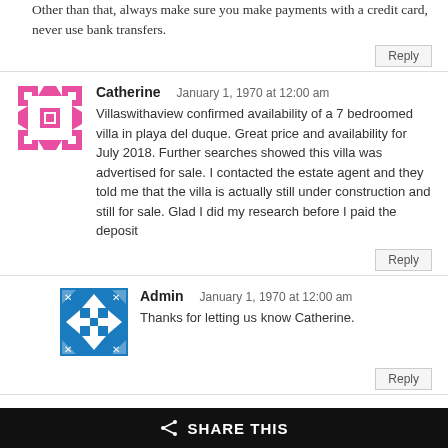Other than that, always make sure you make payments with a credit card, never use bank transfers.
[Figure (illustration): Pink geometric pinwheel-style avatar for user Catherine]
Catherine   January 1, 1970 at 12:00 am
Villaswithaview confirmed availability of a 7 bedroomed villa in playa del duque. Great price and availability for July 2018. Further searches showed this villa was advertised for sale. I contacted the estate agent and they told me that the villa is actually still under construction and still for sale. Glad I did my research before I paid the deposit
[Figure (illustration): Blue directional arrows cross admin avatar]
Admin   January 1, 1970 at 12:00 am
Thanks for letting us know Catherine.
[Figure (illustration): Green and yellow geometric avatar for Patricia ROULET]
Patricia ROULET   January 1, 1970 at 12:00 am
SHARE THIS